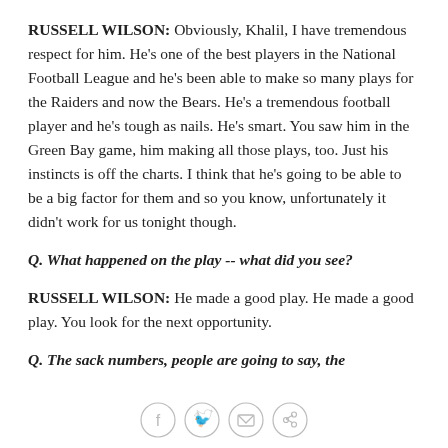RUSSELL WILSON: Obviously, Khalil, I have tremendous respect for him. He's one of the best players in the National Football League and he's been able to make so many plays for the Raiders and now the Bears. He's a tremendous football player and he's tough as nails. He's smart. You saw him in the Green Bay game, him making all those plays, too. Just his instincts is off the charts. I think that he's going to be able to be a big factor for them and so you know, unfortunately it didn't work for us tonight though.
Q. What happened on the play -- what did you see?
RUSSELL WILSON: He made a good play. He made a good play. You look for the next opportunity.
Q. The sack numbers, people are going to say, the
[Figure (other): Social media sharing icons: Facebook, Twitter, email, and link]